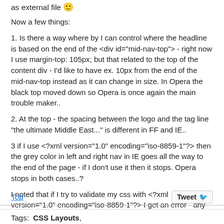as external file 🙂
Now a few things:
1. Is there a way where by I can control where the headline is based on the end of the <div id="mid-nav-top"> - right now I use margin-top: 105px; but that related to the top of the content div - I'd like to have ex. 10px from the end of the mid-nav-top instead as it can change in size. In Opera the black top moved down so Opera is once again the main trouble maker..
2. At the top - the spacing between the logo and the tag line "the ultimate Middle East..." is different in FF and IE..
3 if I use <?xml version="1.0" encoding="iso-8859-1"?> then the grey color in left and right nav in IE goes all the way to the end of the page - if I don't use it then it stops. Opera stops in both cases..?
I noted that if I try to validate my css with <?xml version="1.0" encoding="iso-8859-1"?> I get an error - any ideas??
Any suggestions are welcomed
Cheers
Klaus
Top
Tweet
Tags:  CSS Layouts,